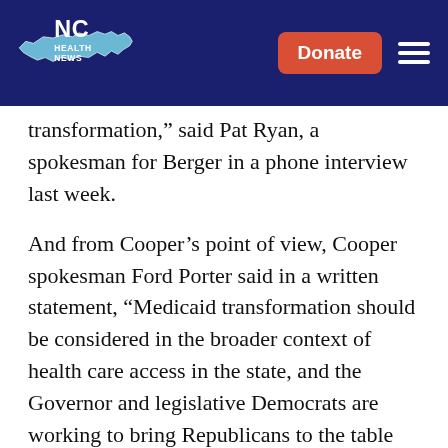[Figure (logo): NC Health News logo on dark navy header background with Donate button and hamburger menu]
transformation,” said Pat Ryan, a spokesman for Berger in a phone interview last week.
And from Cooper’s point of view, Cooper spokesman Ford Porter said in a written statement, “Medicaid transformation should be considered in the broader context of health care access in the state, and the Governor and legislative Democrats are working to bring Republicans to the table on expanding access.”
In other words, don’t hold your breath for a compromise this week.